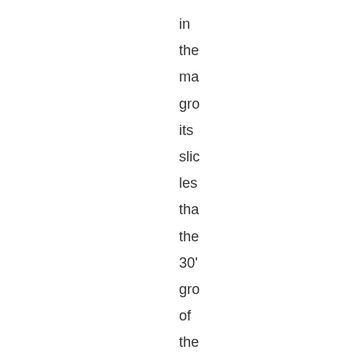in the ma gro its slic les tha the 30' gro of the ma so Sy wo